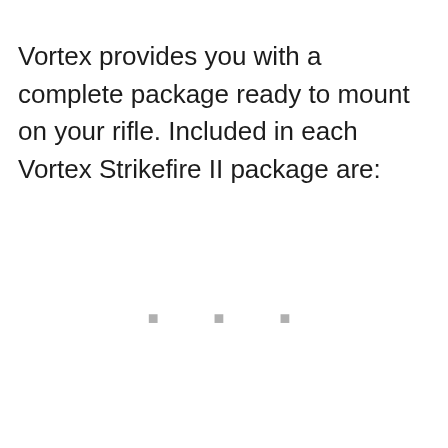Vortex provides you with a complete package ready to mount on your rifle. Included in each Vortex Strikefire II package are:
• • •